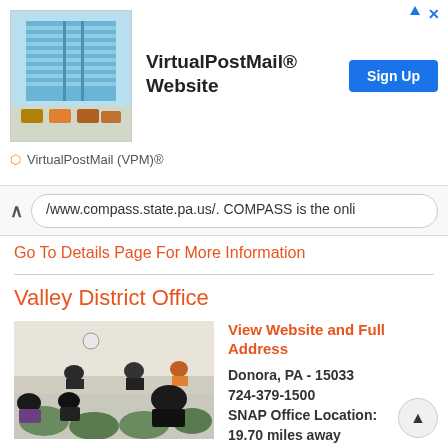[Figure (screenshot): Advertisement banner for VirtualPostMail website with logo image, bold title 'VirtualPostMail® Website', and a blue 'Sign Up' button. Below is a row with the VirtualPostMail (VPM)® logo text.]
/www.compass.state.pa.us/. COMPASS is the onli
Go To Details Page For More Information
Valley District Office
[Figure (photo): Interior photo of a government office waiting room showing people seated in green chairs facing a service counter.]
View Website and Full Address
Donora, PA - 15033
724-379-1500
SNAP Office Location:
19.70 miles away
Website